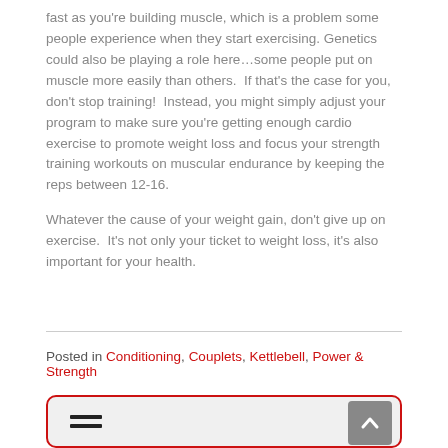fast as you're building muscle, which is a problem some people experience when they start exercising. Genetics could also be playing a role here…some people put on muscle more easily than others.  If that's the case for you, don't stop training!  Instead, you might simply adjust your program to make sure you're getting enough cardio exercise to promote weight loss and focus your strength training workouts on muscular endurance by keeping the reps between 12-16.

Whatever the cause of your weight gain, don't give up on exercise.  It's not only your ticket to weight loss, it's also important for your health.
Posted in Conditioning, Couplets, Kettlebell, Power & Strength
[Figure (other): A rounded box with a red border and light gray background, containing a hamburger menu icon (three horizontal lines) on the left and a scroll-to-top button (dark gray box with an upward arrow) in the top right.]